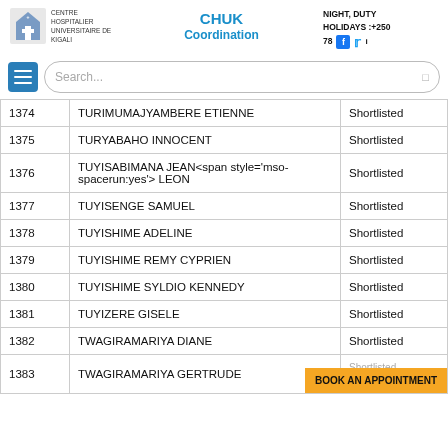CHUK Coordination | NIGHT, DUTY HOLIDAYS: +250 78
|  | Name | Status |
| --- | --- | --- |
| 1374 | TURIMUMAJYAMBERE ETIENNE | Shortlisted |
| 1375 | TURYABAHO INNOCENT | Shortlisted |
| 1376 | TUYISABIMANA JEAN<span style='mso-spacerun:yes'> LEON | Shortlisted |
| 1377 | TUYISENGE SAMUEL | Shortlisted |
| 1378 | TUYISHIME ADELINE | Shortlisted |
| 1379 | TUYISHIME REMY CYPRIEN | Shortlisted |
| 1380 | TUYISHIME SYLDIO KENNEDY | Shortlisted |
| 1381 | TUYIZERE GISELE | Shortlisted |
| 1382 | TWAGIRAMARIYA DIANE | Shortlisted |
| 1383 | TWAGIRAMARIYA GERTRUDE | Shortlisted |